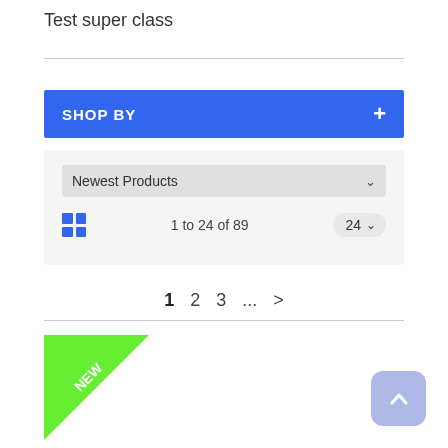Test super class
SHOP BY
[Figure (screenshot): E-commerce filter panel with 'Newest Products' dropdown, grid view toggle, '1 to 24 of 89' product count, per-page selector showing 24, and pagination controls: 1 2 3 ... >]
[Figure (illustration): Green triangle 'NEW' badge in the top-left corner of a product card]
[Figure (other): Blue-purple rounded square back-to-top button with upward chevron arrow]